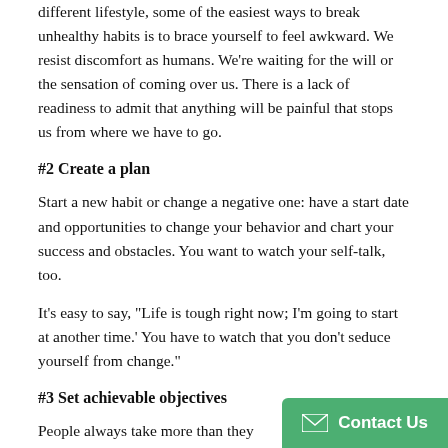different lifestyle, some of the easiest ways to break unhealthy habits is to brace yourself to feel awkward. We resist discomfort as humans. We're waiting for the will or the sensation of coming over us. There is a lack of readiness to admit that anything will be painful that stops us from where we have to go.
#2 Create a plan
Start a new habit or change a negative one: have a start date and opportunities to change your behavior and chart your success and obstacles. You want to watch your self-talk, too.
It's easy to say, "Life is tough right now; I'm going to start at another time.' You have to watch that you don't seduce yourself from change."
#3 Set achievable objectives
People always take more than they can. treadmill every day, but instead of startin